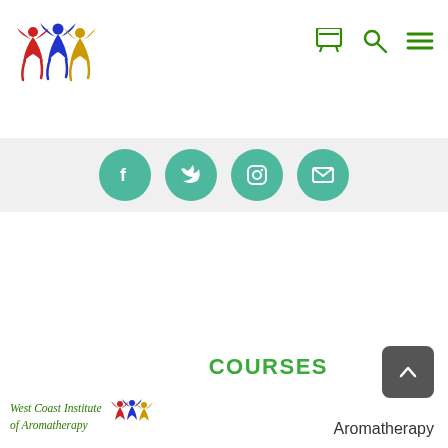[Figure (logo): West Coast Institute of Aromatherapy logo - three stylized human figures in red, blue and gold, raising arms]
[Figure (infographic): Navigation icons: shopping cart, search/magnifying glass, and hamburger menu in green]
[Figure (infographic): Social media bar with four teal circular icons for Facebook, Twitter, Instagram, and another social network]
[Figure (logo): West Coast Institute of Aromatherapy footer logo with italic green text and small figures illustration]
COURSES
Aromatherapy